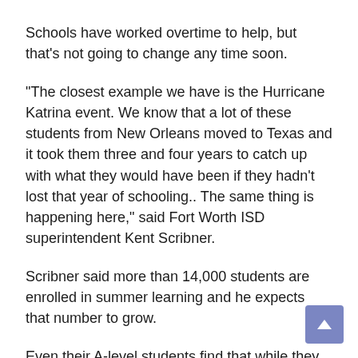Schools have worked overtime to help, but that's not going to change any time soon.
“The closest example we have is the Hurricane Katrina event. We know that a lot of these students from New Orleans moved to Texas and it took them three and four years to catch up with what they would have been if they hadn’t lost that year of schooling.. The same thing is happening here,” said Fort Worth ISD superintendent Kent Scribner.
Scribner said more than 14,000 students are enrolled in summer learning and he expects that number to grow.
Even their A-level students find that while they are doing well, they still have to catch up.
“Usually during the summer they regress by about 23% from what they learned the previous school year,” said Ricardo Alvarez Uzcategui, principal of MH Moore Elementary School. “So the summer school is a great opportunity for students to